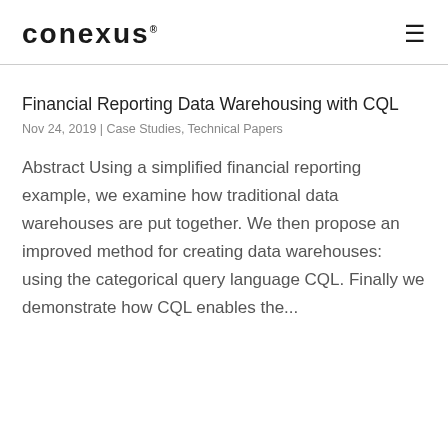conexus
Financial Reporting Data Warehousing with CQL
Nov 24, 2019 | Case Studies, Technical Papers
Abstract Using a simplified financial reporting example, we examine how traditional data warehouses are put together. We then propose an improved method for creating data warehouses: using the categorical query language CQL. Finally we demonstrate how CQL enables the...